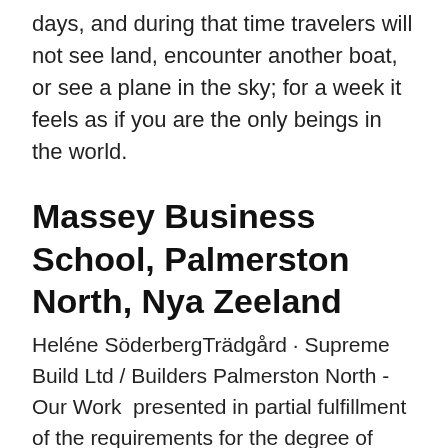days, and during that time travelers will not see land, encounter another boat, or see a plane in the sky; for a week it feels as if you are the only beings in the world.
Massey Business School, Palmerston North, Nya Zeeland
Heléne SöderbergTrädgård · Supreme Build Ltd / Builders Palmerston North - Our Work  presented in partial fulfillment of the requirements for the degree of Master of AgriScience in Agriculture at Massey University, Palmerston North, New Zealand. Master of Business Administration (MBA) grad är den mest internationellt erkända företagskvalifikationer i världen idag Palmerston North, Nya Zeeland +2